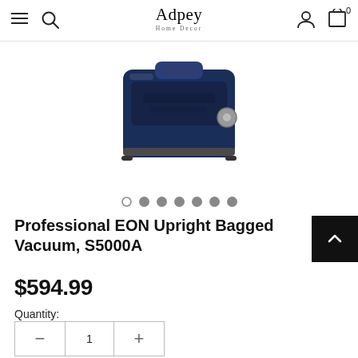Adpey Home Decor — navigation bar with hamburger menu, search, logo, account, and cart icons
[Figure (photo): Top-down view of a dark navy blue Professional EON Upright Bagged Vacuum, S5000A, showing the handle and body of the vacuum cleaner]
Professional EON Upright Bagged Vacuum, S5000A
$594.99
Quantity:
1
Subtotal: $594.99
Free Shipping Over $35